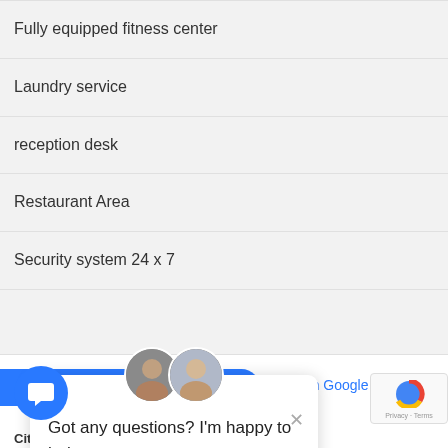Fully equipped fitness center
Laundry service
reception desk
Restaurant Area
Security system 24 x 7
[Figure (screenshot): Chat popup widget with two avatar photos, close X button, and text: Got any questions? I'm happy to help.]
Open on Google M...
City: Pattaya